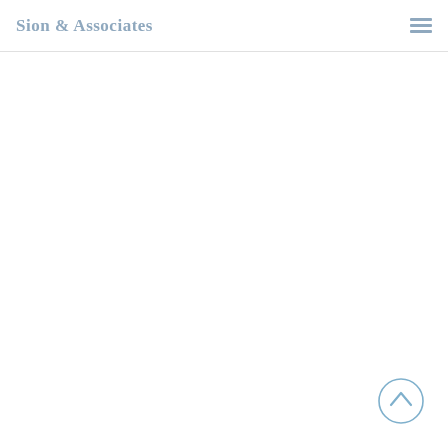Sion & Associates
[Figure (other): Back to top button — circular outline with upward chevron arrow, rendered in light blue/steel color]